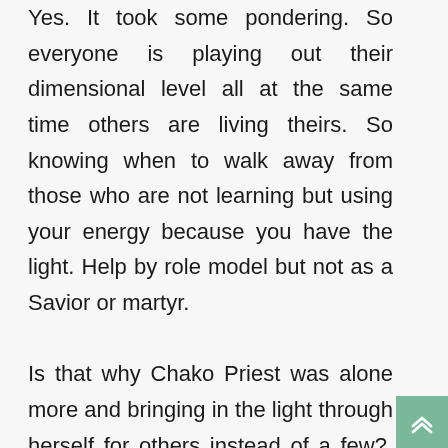Yes. It took some pondering. So everyone is playing out their dimensional level all at the same time others are living theirs. So knowing when to walk away from those who are not learning but using your energy because you have the light. Help by role model but not as a Savior or martyr.

Is that why Chako Priest was alone more and bringing in the light through herself for others instead of a few?  Thank you Janet